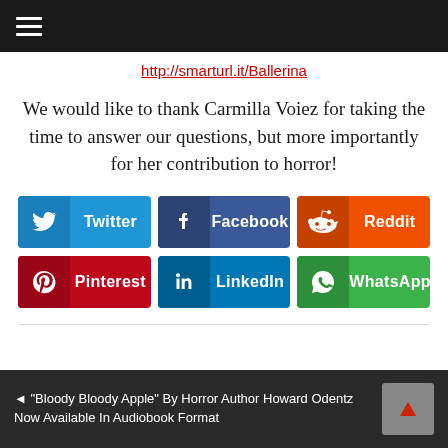≡ (hamburger menu)
http://smarturl.it/Ballerina
We would like to thank Carmilla Voiez for taking the time to answer our questions, but more importantly for her contribution to horror!
[Figure (infographic): Social sharing buttons: Twitter, Facebook, Reddit, Pinterest, LinkedIn, WhatsApp]
◄ "Bloody Bloody Apple" By Horror Author Howard Odentz Now Available In Audiobook Format